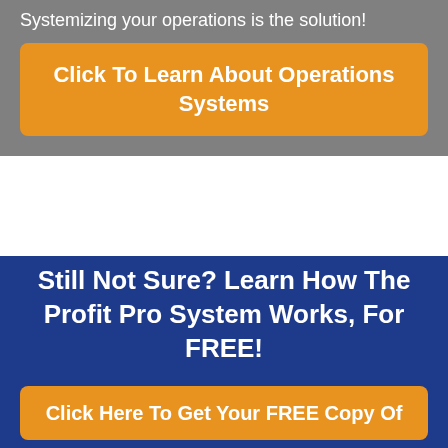Systemizing your operations is the solution!
[Figure (other): Orange button with text: Click To Learn About Operations Systems]
Still Not Sure? Learn How The Profit Pro System Works, For FREE!
[Figure (other): Orange button with text: Click Here To Get Your FREE Copy Of]